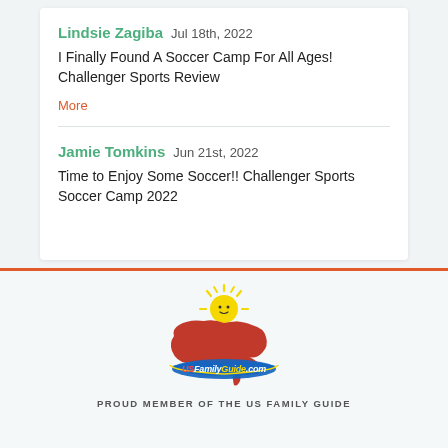Lindsie Zagiba  Jul 18th, 2022
I Finally Found A Soccer Camp For All Ages! Challenger Sports Review
More
Jamie Tomkins  Jun 21st, 2022
Time to Enjoy Some Soccer!! Challenger Sports Soccer Camp 2022
[Figure (logo): USFamilyGuide.com logo — a cartoon smiling sun above a red map of the USA with a blue/yellow banner reading USFamilyGuide.com]
PROUD MEMBER OF THE US FAMILY GUIDE